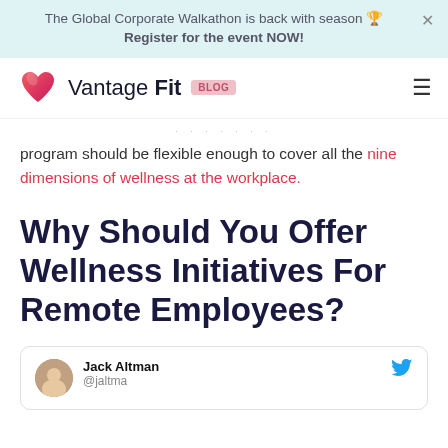The Global Corporate Walkathon is back with season 🏆 Register for the event NOW!
[Figure (logo): Vantage Fit Blog logo with heart icon]
program should be flexible enough to cover all the nine dimensions of wellness at the workplace.
Why Should You Offer Wellness Initiatives For Remote Employees?
[Figure (other): Tweet card: Jack Altman @jaltma with avatar and Twitter bird icon]